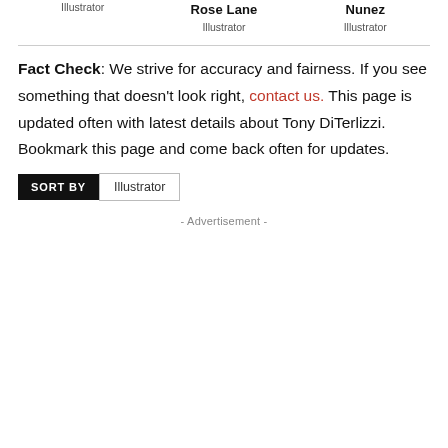Illustrator | Rose Lane Illustrator | Nunez Illustrator
Fact Check: We strive for accuracy and fairness. If you see something that doesn't look right, contact us. This page is updated often with latest details about Tony DiTerlizzi. Bookmark this page and come back often for updates.
SORT BY  Illustrator
- Advertisement -